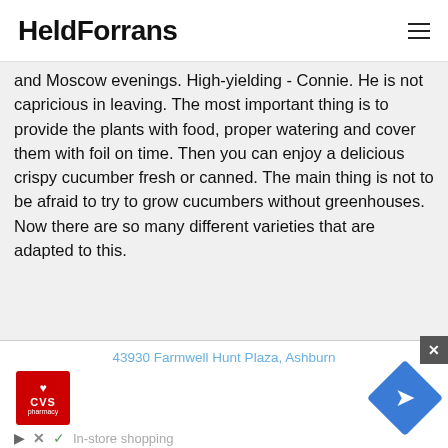HeldForrans
and Moscow evenings. High-yielding - Connie. He is not capricious in leaving. The most important thing is to provide the plants with food, proper watering and cover them with foil on time. Then you can enjoy a delicious crispy cucumber fresh or canned. The main thing is not to be afraid to try to grow cucumbers without greenhouses. Now there are so many different varieties that are adapted to this.
[Figure (photo): Green cucumber plant foliage, close-up strip image]
[Figure (infographic): Advertisement banner showing CVS Pharmacy logo, navigation diamond icon, address '43930 Farmwell Hunt Plaza, Ashburn', and 'In-store shopping' text]